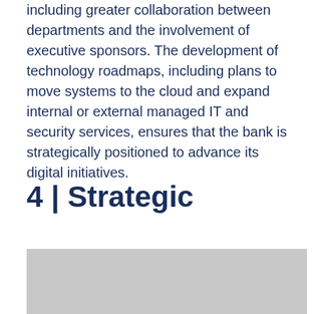including greater collaboration between departments and the involvement of executive sponsors. The development of technology roadmaps, including plans to move systems to the cloud and expand internal or external managed IT and security services, ensures that the bank is strategically positioned to advance its digital initiatives.
4 | Strategic
[Figure (other): Gray placeholder image box, partially visible at bottom of page]